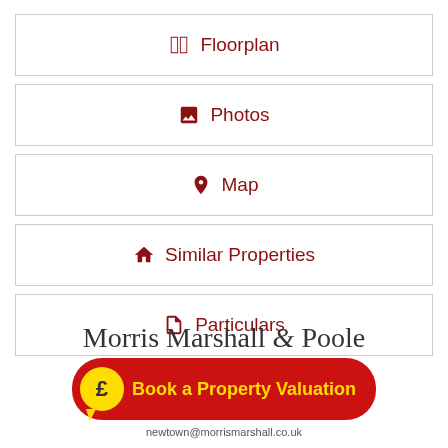Floorplan
Photos
Map
Similar Properties
Particulars
Morris Marshall & Poole
Book a Property Valuation
newtown@morrismarshall.co.uk